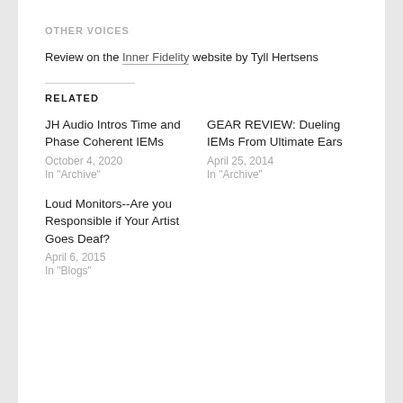OTHER VOICES
Review on the Inner Fidelity website by Tyll Hertsens
RELATED
JH Audio Intros Time and Phase Coherent IEMs
October 4, 2020
In "Archive"
GEAR REVIEW: Dueling IEMs From Ultimate Ears
April 25, 2014
In "Archive"
Loud Monitors--Are you Responsible if Your Artist Goes Deaf?
April 6, 2015
In "Blogs"